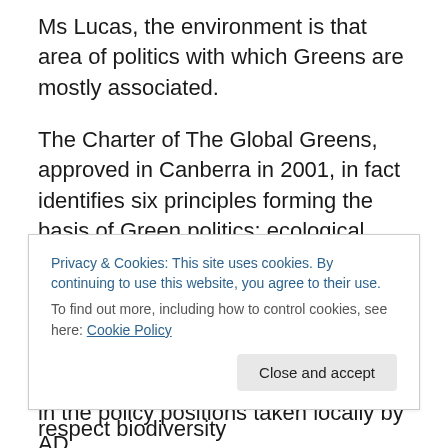Ms Lucas, the environment is that area of politics with which Greens are mostly associated.
The Charter of The Global Greens, approved in Canberra in 2001, in fact identifies six principles forming the basis of Green politics: ecological wisdom, social justice, participatory democracy, non-violence, sustainability and respect for diversity. Viewed together, they form the basis of Green politics. All six are enshrined in the policy positions taken locally by AD.
Humankind is part of the natural world. We must respect
Privacy & Cookies: This site uses cookies. By continuing to use this website, you agree to their use.
To find out more, including how to control cookies, see here: Cookie Policy
must ensure fulfilling the basic duty to respect biodiversity